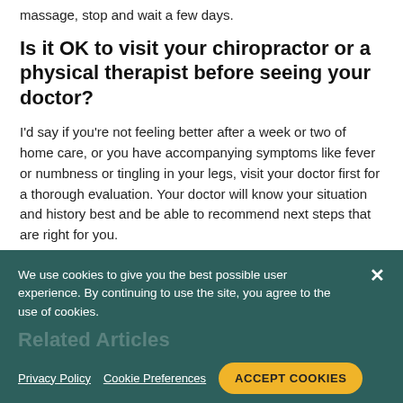massage, stop and wait a few days.
Is it OK to visit your chiropractor or a physical therapist before seeing your doctor?
I'd say if you're not feeling better after a week or two of home care, or you have accompanying symptoms like fever or numbness or tingling in your legs, visit your doctor first for a thorough evaluation. Your doctor will know your situation and history best and be able to recommend next steps that are right for you.
We use cookies to give you the best possible user experience. By continuing to use the site, you agree to the use of cookies.
Related Articles
Privacy Policy   Cookie Preferences   ACCEPT COOKIES